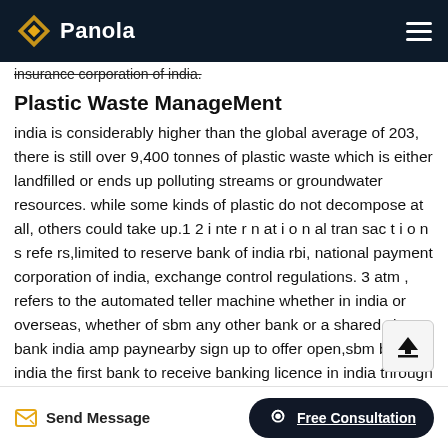Panola
insurance corporation of india.
Plastic Waste ManageMent
india is considerably higher than the global average of 203, there is still over 9,400 tonnes of plastic waste which is either landfilled or ends up polluting streams or groundwater resources. while some kinds of plastic do not decompose at all, others could take up.1 2 i nte r n at i o n al tran sac t i o n s refe rs,limited to reserve bank of india rbi, national payment corporation of india, exchange control regulations. 3 atm , refers to the automated teller machine whether in india or overseas, whether of sbm any other bank or a shared.sbm bank india amp paynearby sign up to offer open,sbm bank india the first bank to receive banking licence in india through wholly
Send Message   Free Consultation